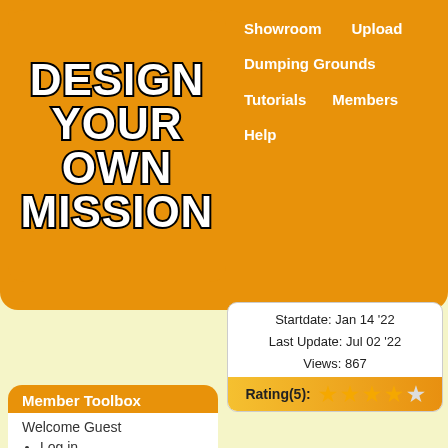[Figure (logo): Design Your Own Mission logo in bold white text on orange background with black stroke]
Showroom    Upload
Dumping Grounds
Tutorials    Members
Help
Startdate: Jan 14 '22
Last Update: Jul 02 '22
Views: 867
Rating(5): ★★★★☆
Member Toolbox
Welcome Guest
Log in
Register
DYOM Links
Support Forum
Download Mod
DYOM Discord Server
CLEO Library
YouTube Channel
Facebook Profile
Site Statistics
camera!
266-
271
-
Get
punched
272
-
Roll
over
and
die
(animation
when